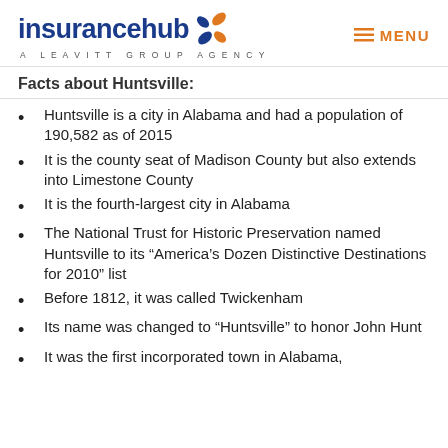insurancehub A LEAVITT GROUP AGENCY | MENU
Facts about Huntsville:
Huntsville is a city in Alabama and had a population of 190,582 as of 2015
It is the county seat of Madison County but also extends into Limestone County
It is the fourth-largest city in Alabama
The National Trust for Historic Preservation named Huntsville to its “America’s Dozen Distinctive Destinations for 2010” list
Before 1812, it was called Twickenham
Its name was changed to “Huntsville” to honor John Hunt
It was the first incorporated town in Alabama, back in 1811